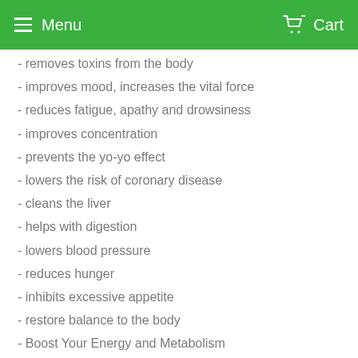Menu   Cart
- removes toxins from the body
- improves mood, increases the vital force
- reduces fatigue, apathy and drowsiness
- improves concentration
- prevents the yo-yo effect
- lowers the risk of coronary disease
- cleans the liver
- helps with digestion
- lowers blood pressure
- reduces hunger
- inhibits excessive appetite
- restore balance to the body
- Boost Your Energy and Metabolism
- Fight Breast and Cervical Cancer
100% Pure Natural,non-GMO, vegan, gluten-free, low-carb.
Cleansing Vital Fiber contains no additives, preservatives, fillers, or